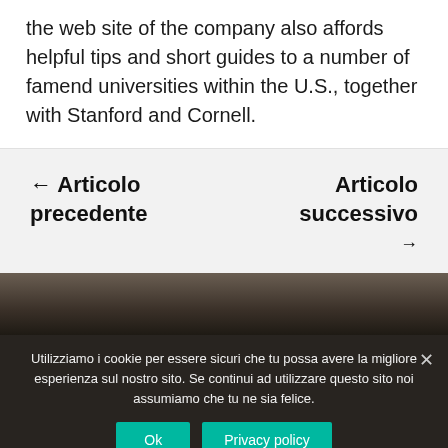the web site of the company also affords helpful tips and short guides to a number of famend universities within the U.S., together with Stanford and Cornell.
← Articolo precedente
Articolo successivo →
[Figure (photo): Dark blurred photo of a car interior or mechanical subject with dark tones]
Utilizziamo i cookie per essere sicuri che tu possa avere la migliore esperienza sul nostro sito. Se continui ad utilizzare questo sito noi assumiamo che tu ne sia felice.
Ok
Privacy policy